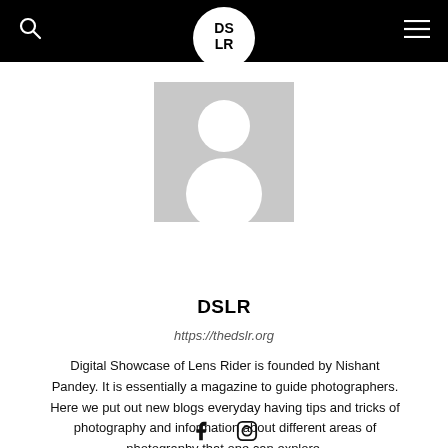DSLR — thedslr.org header navigation
[Figure (logo): DSLR logo in white circle on black header bar — bold black letters DS on top row, LR on bottom row]
[Figure (photo): Default grey avatar placeholder image with silhouette of a person (head and shoulders)]
DSLR
https://thedslr.org
Digital Showcase of Lens Rider is founded by Nishant Pandey. It is essentially a magazine to guide photographers. Here we put out new blogs everyday having tips and tricks of photography and information about different areas of photography that one can explore.
[Figure (illustration): Facebook and Instagram social media icons in black]